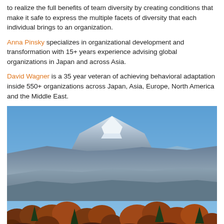to realize the full benefits of team diversity by creating conditions that make it safe to express the multiple facets of diversity that each individual brings to an organization.
Anna Pinsky specializes in organizational development and transformation with 15+ years experience advising global organizations in Japan and across Asia.
David Wagner is a 35 year veteran of achieving behavioral adaptation inside 550+ organizations across Japan, Asia, Europe, North America and the Middle East.
[Figure (photo): Photograph of Mount Fuji with a snow-capped peak rising above layered mountain ridges, under a clear blue sky, with autumn foliage in the foreground.]